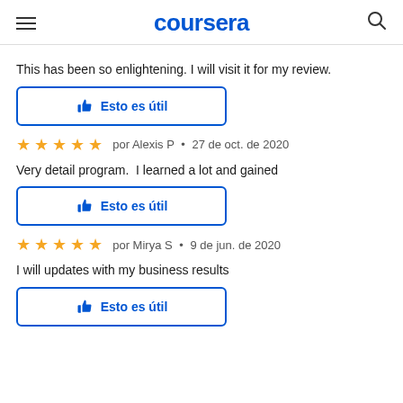coursera
This has been so enlightening. I will visit it for my review.
Esto es útil
★★★★★  por Alexis P  •  27 de oct. de 2020
Very detail program.  I learned a lot and gained
Esto es útil
★★★★★  por Mirya S  •  9 de jun. de 2020
I will updates with my business results
Esto es útil